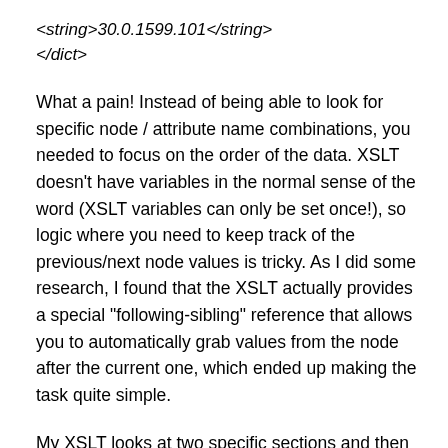<string>30.0.1599.101</string>
</dict>
What a pain! Instead of being able to look for specific node / attribute name combinations, you needed to focus on the order of the data. XSLT doesn’t have variables in the normal sense of the word (XSLT variables can only be set once!), so logic where you need to keep track of the previous/next node values is tricky. As I did some research, I found that the XSLT actually provides a special “following-sibling” reference that allows you to automatically grab values from the node after the current one, which ended up making the task quite simple.
My XSLT looks at two specific sections and then outputs tab-delimited values for certain keys.  Specifically, it grabs each of the sections and then outputs the data for the keys